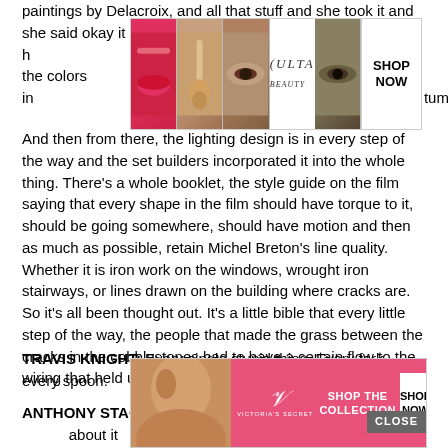paintings by Delacroix, and all that stuff and she took it and she said okay it h... and the colors in ... tumes?
[Figure (photo): Ulta Beauty advertisement banner showing makeup/cosmetic images — lips with red lipstick, makeup brush, eye makeup, Ulta logo, smoky eye — with SHOP NOW button]
And then from there, the lighting design is in every step of the way and the set builders incorporated it into the whole thing. There's a whole booklet, the style guide on the film saying that every shape in the film should have torque to it, should be going somewhere, should have motion and then as much as possible, retain Michel Breton's line quality. Whether it is iron work on the windows, wrought iron stairways, or lines drawn on the building where cracks are. So it's all been thought out. It's a little bible that every little step of the way, the people that made the grass between the cracks in the cobblestones had to have a certain flow to the wiring that held up.
TRAVIS KNIGHT: Every single stupid thing. Every fork, every spoon.
ANTHONY STACCHI: It really makes no sense. Nobody knows about it b...
[Figure (photo): Victoria's Secret advertisement showing woman's face with curly hair, Victoria's Secret logo, SHOP THE COLLECTION text, and SHOP NOW button]
CLOSE